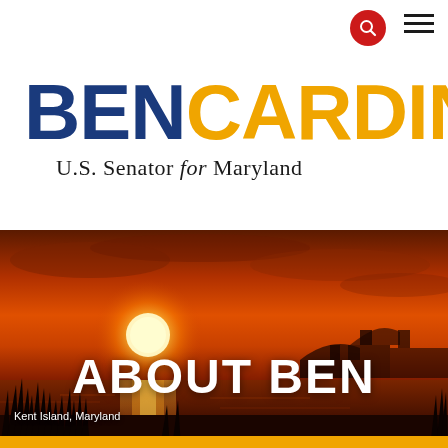BEN CARDIN U.S. Senator for Maryland
[Figure (photo): Sunset over water with marsh grass in foreground and bridge silhouette in background, Kent Island, Maryland]
ABOUT BEN
Kent Island, Maryland